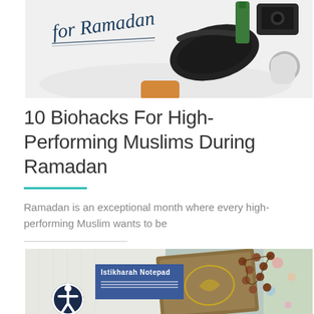[Figure (photo): Flatlay photo showing sleep mask, camera, small bottles, and handwritten text 'for Ramadan' on white background]
10 Biohacks For High-Performing Muslims During Ramadan
Ramadan is an exceptional month where every high-performing Muslim wants to be
[Figure (photo): Photo showing a prayer bead rosary, an ornate book (Quran), colorful floral fabric, and an Istikharah Notepad on a textured cloth background. An accessibility icon button is visible in the bottom left.]